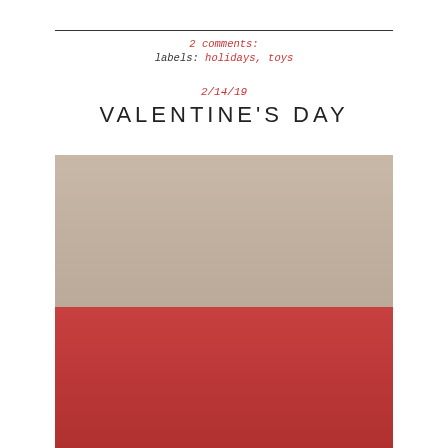2 comments:
labels: holidays, toys
2/14/19
VALENTINE'S DAY
[Figure (photo): A white fluffy dog wearing red heart antenna headband and red feather boa, lying on a red blanket with red roses and a Valentine's card in front]